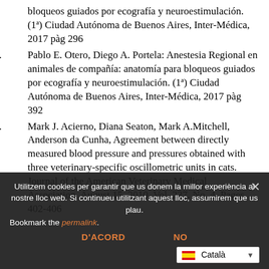bloqueos guiados por ecografía y neuroestimulación. (1ª) Ciudad Autónoma de Buenos Aires, Inter-Médica, 2017 pàg 296
5. Pablo E. Otero, Diego A. Portela: Anestesia Regional en animales de compañía: anatomía para bloqueos guiados por ecografía y neuroestimulación. (1ª) Ciudad Autónoma de Buenos Aires, Inter-Médica, 2017 pàg 392
6. Mark J. Acierno, Diana Seaton, Mark A.Mitchell, Anderson da Cunha, Agreement between directly measured blood pressure and pressures obtained with three veterinary-specific oscillometric units in cats. Journal of the American Veterinary Medical Association, August 15, 2010, Vol. 237, No. 4, Pages 402-406
Utilitzem cookies per garantir que us donem la millor experiència al nostre lloc web. Si continueu utilitzant aquest lloc, assumirem que us plau.
Bookmark the permalink.